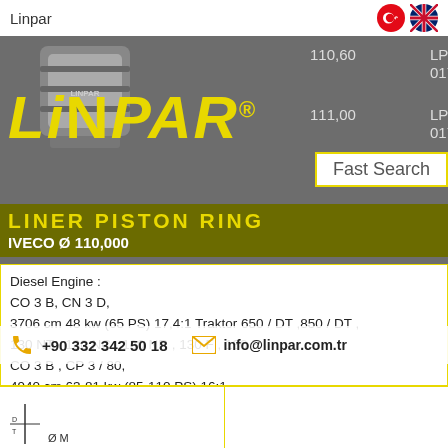Linpar
[Figure (screenshot): Linpar website screenshot showing liner piston ring product page for IVECO diameter 110.000, with product codes LP 333 01701 and LP 333 01702, values 110,60 and 111,00]
LiNPAR®
Fast Search
LINER PISTON RING
IVECO Ø 110,000
Diesel Engine :
CO 3 B, CN 3 D,
3706 cm 48 kw (65 PS) 17,4:1 Traktor 650 / DT ,850 / DT , 130 NT , 130 NC , 130 NR , 130 F , 130 R
CO 3 B , CP 3 / 80,
4940 cm 63-81 kw (85-110 PS) 16:1
Traktor 650 / DT , 850 / DT , 750 , 800 , 805 , 130 NT , 130 NC , 130 NR , 130 F , 130 R
+90 332 342 50 18    info@linpar.com.tr